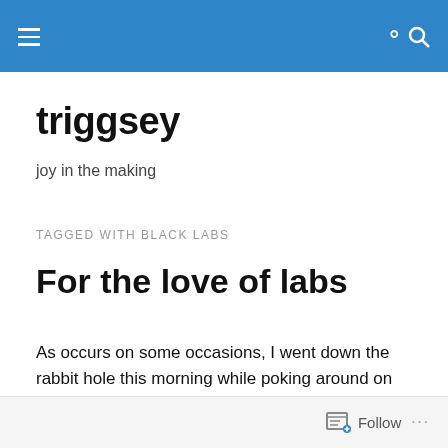trigg sey — navigation and search header bar
triggsey
joy in the making
TAGGED WITH BLACK LABS
For the love of labs
As occurs on some occasions, I went down the rabbit hole this morning while poking around on my laptop and having that first critical cup of tea.  I ended up weeding through old bookmarks and came across the one for Lucky Lab
Follow ...